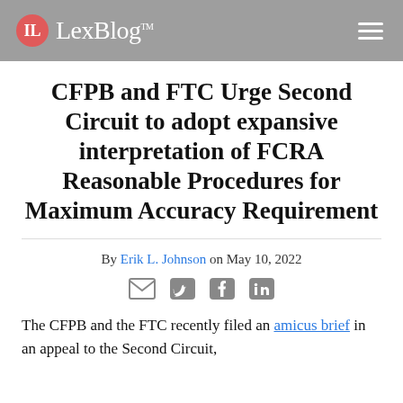LexBlog
CFPB and FTC Urge Second Circuit to adopt expansive interpretation of FCRA Reasonable Procedures for Maximum Accuracy Requirement
By Erik L. Johnson on May 10, 2022
[Figure (other): Social sharing icons: email, Twitter, Facebook, LinkedIn]
The CFPB and the FTC recently filed an amicus brief in an appeal to the Second Circuit, arguing that the Court should adopt the